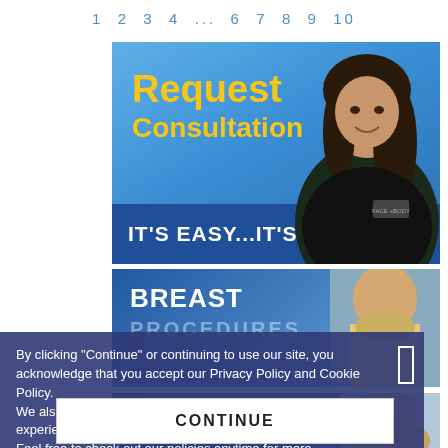1 2 3 4 ... 6 7 8 9 10
[Figure (illustration): Request Consultation banner with woman in scrubs. Blue gradient background with yellow text 'Request Consultation' and white bold text 'IT'S EASY...IT'S FREE' on dark blue bar.]
[Figure (illustration): Breast Procedures banner with blue gradient background, white bold text 'BREAST' and semi-transparent 'PROCEDURES', with a woman's torso image on the right.]
By clicking "Continue" or continuing to use our site, you acknowledge that you accept our Privacy Policy and Cookie Policy.
We also may use cookies to provide you with the best possible experience on our website.
Feel free to check out our policies anytime for more information.
Cookie policy   Privacy policy
[Figure (illustration): Facial Procedures banner with blue gradient background, white bold text 'FACIAL' and semi-transparent 'PROCEDURES', with a woman's face image on the right.]
CONTINUE